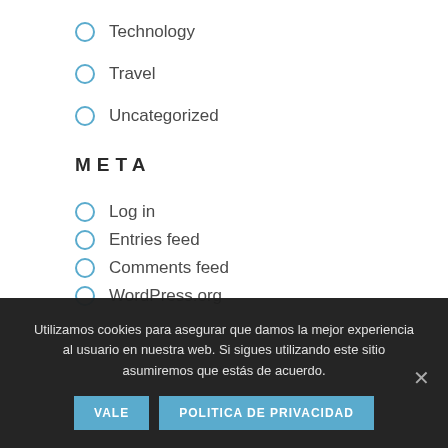Technology
Travel
Uncategorized
META
Log in
Entries feed
Comments feed
WordPress.org
Utilizamos cookies para asegurar que damos la mejor experiencia al usuario en nuestra web. Si sigues utilizando este sitio asumiremos que estás de acuerdo.
VALE
POLITICA DE PRIVACIDAD